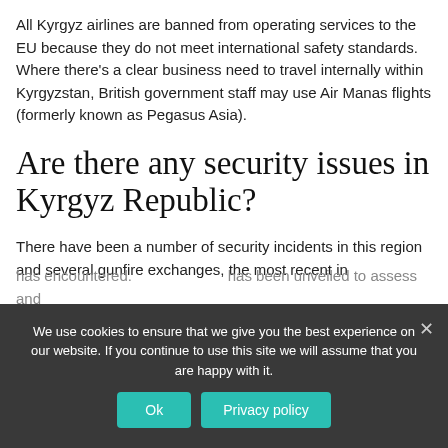All Kyrgyz airlines are banned from operating services to the EU because they do not meet international safety standards. Where there's a clear business need to travel internally within Kyrgyzstan, British government staff may use Air Manas flights (formerly known as Pegasus Asia).
Are there any security issues in Kyrgyz Republic?
There have been a number of security incidents in this region and several gunfire exchanges, the most recent in
has encountered. has been unveiled to assess and
We use cookies to ensure that we give you the best experience on our website. If you continue to use this site we will assume that you are happy with it.